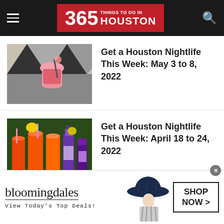365 Things to Do in Houston
[Figure (photo): Cocktail drink in a pink cup on a black and white geometric surface]
Get a Houston Nightlife This Week: May 3 to 8, 2022
[Figure (photo): Orange/red cocktail drinks with straws and bottles on a table]
Get a Houston Nightlife This Week: April 18 to 24, 2022
[Figure (advertisement): Bloomingdale's advertisement with woman in hat. Text: bloomingdales, View Today's Top Deals!, SHOP NOW >]